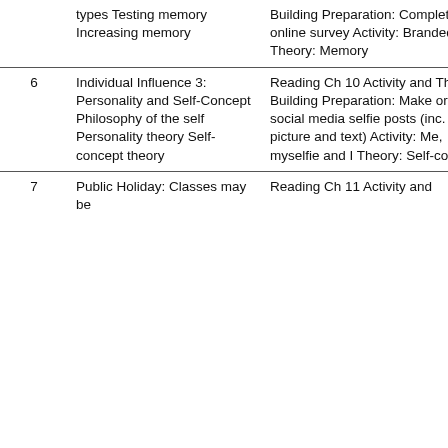| Week | Topic | Preparation & Activities |
| --- | --- | --- |
|  | types Testing memory Increasing memory | Building Preparation: Complete online survey Activity: Branded! Theory: Memory |
| 6 | Individual Influence 3: Personality and Self-Concept Philosophy of the self Personality theory Self-concept theory | Reading Ch 10 Activity and Theory Building Preparation: Make or find 4 social media selfie posts (inc. picture and text) Activity: Me, myselfie and I Theory: Self-concept |
| 7 | Public Holiday: Classes may be | Reading Ch 11 Activity and |